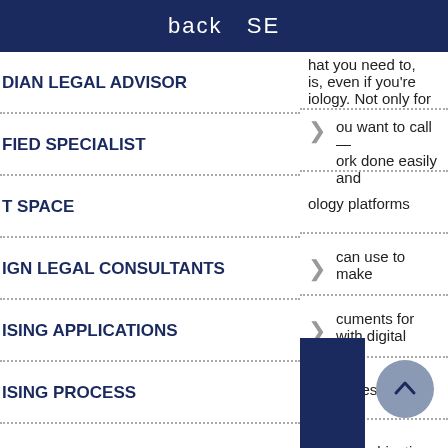back SE
DIAN LEGAL ADVISOR
hat you need to, is, even if you're iology. Not only for
FIED SPECIALIST
ou want to call — ork done easily and
T SPACE
ology platforms
IGN LEGAL CONSULTANTS
can use to make
ISING APPLICATIONS
cuments for with digital
ISING PROCESS
hat judges want
LITY
aking an objection
R FEES